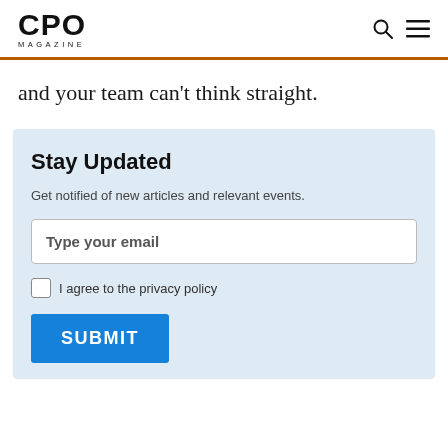CPO MAGAZINE
and your team can't think straight.
Stay Updated
Get notified of new articles and relevant events.
Type your email
I agree to the privacy policy
SUBMIT